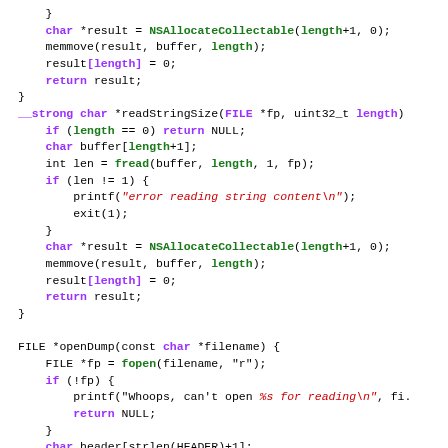Code snippet showing C functions: closing brace, char *result NSAllocateCollectable, memmove, result[length]=0, return result, closing brace. __strong char *readStringSize(FILE *fp, uint32_t length) function body with buffer, fread, printf error, exit, NSAllocateCollectable, memmove, return. FILE *openDump function with fopen, if(!fp) printf whoops, char header, fread, if memcmp header.